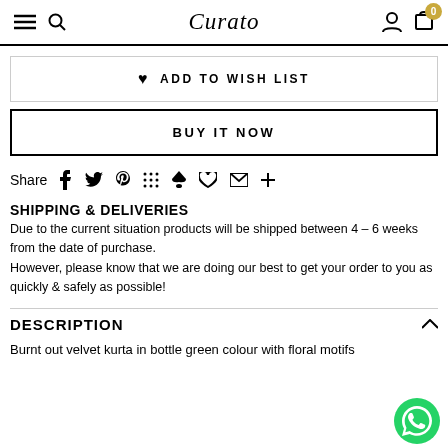Curato — navigation bar with menu, search, account, and cart (0)
♥  ADD TO WISH LIST
BUY IT NOW
Share  f  🐦  𝐏  ⠿  ♠  ♡  ✉  +
SHIPPING & DELIVERIES
Due to the current situation products will be shipped between 4 – 6 weeks from the date of purchase.
However, please know that we are doing our best to get your order to you as quickly & safely as possible!
DESCRIPTION
Burnt out velvet kurta in bottle green colour with floral motifs